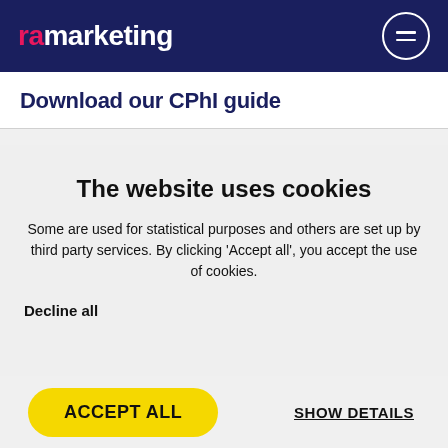ramarketing
Download our CPhI guide
The website uses cookies
Some are used for statistical purposes and others are set up by third party services. By clicking ‘Accept all’, you accept the use of cookies.
Decline all
ACCEPT ALL
SHOW DETAILS